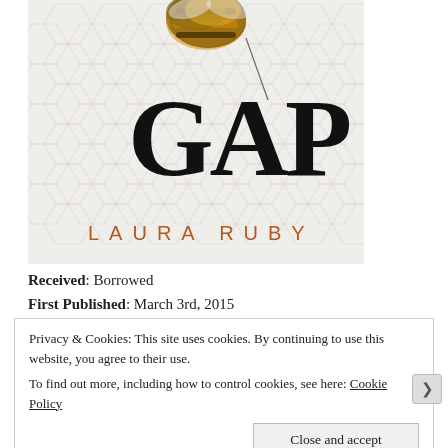[Figure (illustration): Book cover of 'GAP' by Laura Ruby. White honeycomb pattern background with a bumblebee at the top. Large hand-lettered black text 'GAP' in center. Author name 'LAURA RUBY' in spaced terracotta/copper letters at bottom.]
Received: Borrowed
First Published: March 3rd, 2015
Privacy & Cookies: This site uses cookies. By continuing to use this website, you agree to their use. To find out more, including how to control cookies, see here: Cookie Policy